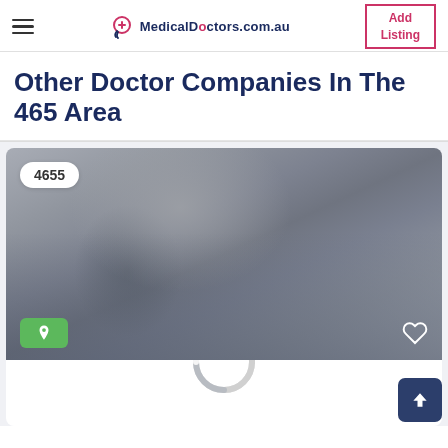MedicalDoctors.com.au — Add Listing
Other Doctor Companies In The 465 Area
[Figure (screenshot): A blurred map/street view image card showing the number badge '4655', a green location pin button at the bottom left, and a heart icon at the bottom right. A loading spinner is partially visible at the bottom of the card.]